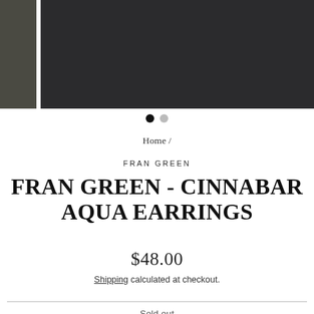[Figure (photo): Product image carousel showing two panels: a small dark olive/grey textured thumbnail on the left and a large dark charcoal/black panel as the main image on the right.]
Home /
FRAN GREEN
FRAN GREEN - CINNABAR AQUA EARRINGS
$48.00
Shipping calculated at checkout.